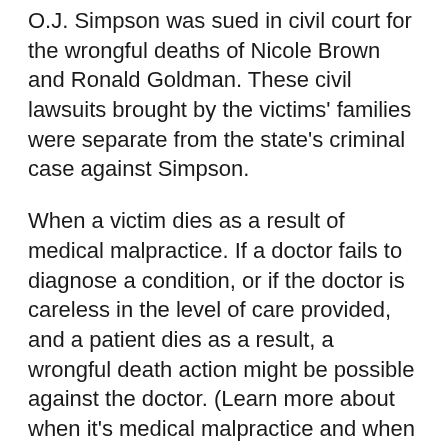O.J. Simpson was sued in civil court for the wrongful deaths of Nicole Brown and Ronald Goldman. These civil lawsuits brought by the victims' families were separate from the state's criminal case against Simpson.
When a victim dies as a result of medical malpractice. If a doctor fails to diagnose a condition, or if the doctor is careless in the level of care provided, and a patient dies as a result, a wrongful death action might be possible against the doctor. (Learn more about when it's medical malpractice and when it isn't.)
Car accident fatalities involving negligence. If a victim dies as a result of car accident injuries, a wrongful death claim may be brought.
These are just a few examples of personal injury cases that can turn into wrongful death claims. A